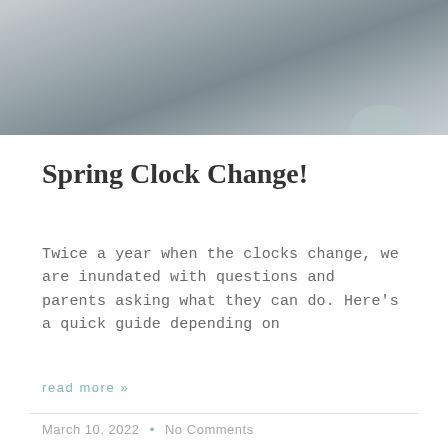[Figure (photo): A photo showing people relaxing, soft muted tones, blurred lifestyle scene with light gray and blue tones]
Spring Clock Change!
Twice a year when the clocks change, we are inundated with questions and parents asking what they can do. Here’s a quick guide depending on
read more »
March 10, 2022  •  No Comments